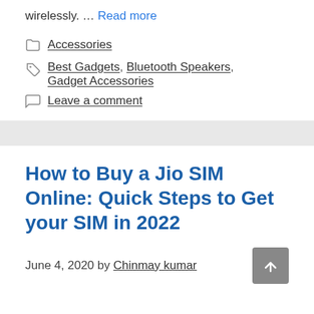wirelessly. … Read more
Accessories
Best Gadgets, Bluetooth Speakers, Gadget Accessories
Leave a comment
How to Buy a Jio SIM Online: Quick Steps to Get your SIM in 2022
June 4, 2020 by Chinmay kumar